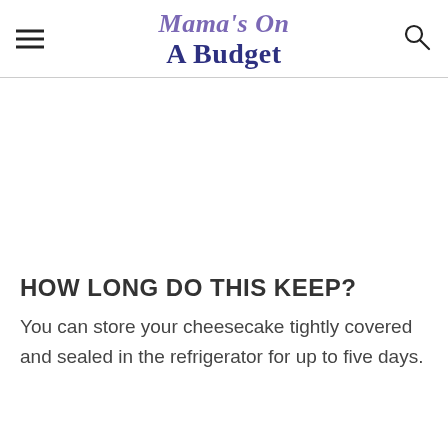Mama's On A Budget
HOW LONG DO THIS KEEP?
You can store your cheesecake tightly covered and sealed in the refrigerator for up to five days.